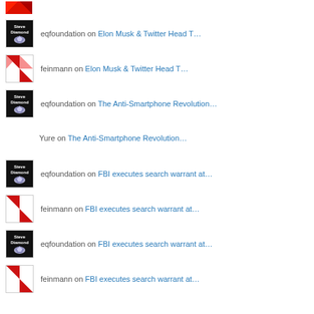eqfoundation on Elon Musk & Twitter Head T…
feinmann on Elon Musk & Twitter Head T…
eqfoundation on The Anti-Smartphone Revolution…
Yure on The Anti-Smartphone Revolution…
eqfoundation on FBI executes search warrant at…
feinmann on FBI executes search warrant at…
eqfoundation on FBI executes search warrant at…
feinmann on FBI executes search warrant at…